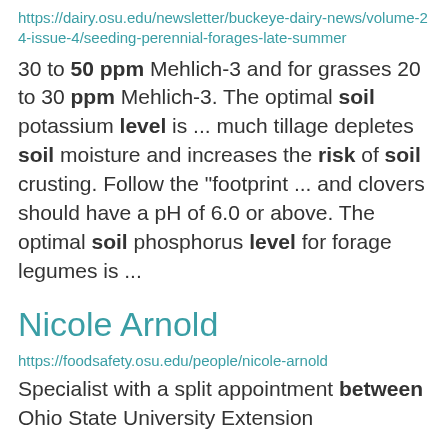https://dairy.osu.edu/newsletter/buckeye-dairy-news/volume-24-issue-4/seeding-perennial-forages-late-summer
30 to 50 ppm Mehlich-3 and for grasses 20 to 30 ppm Mehlich-3. The optimal soil potassium level is ... much tillage depletes soil moisture and increases the risk of soil crusting. Follow the "footprint ... and clovers should have a pH of 6.0 or above. The optimal soil phosphorus level for forage legumes is ...
Nicole Arnold
https://foodsafety.osu.edu/people/nicole-arnold
Specialist with a split appointment between Ohio State University Extension